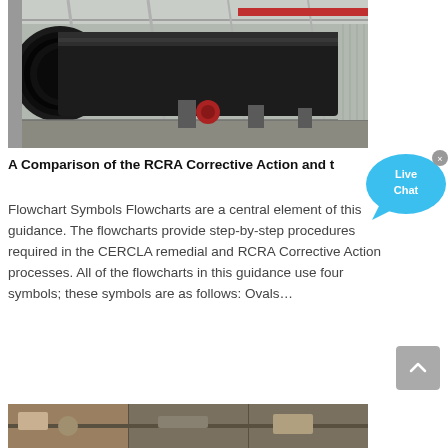[Figure (photo): Industrial rotary kiln or large cylindrical drum/pipe in a factory warehouse setting, viewed from the open end.]
A Comparison of the RCRA Corrective Action and th...
Flowchart Symbols Flowcharts are a central element of this guidance. The flowcharts provide step-by-step procedures required in the CERCLA remedial and RCRA Corrective Action processes. All of the flowcharts in this guidance use four symbols; these symbols are as follows: Ovals…
[Figure (photo): Bottom strip showing another industrial photo.]